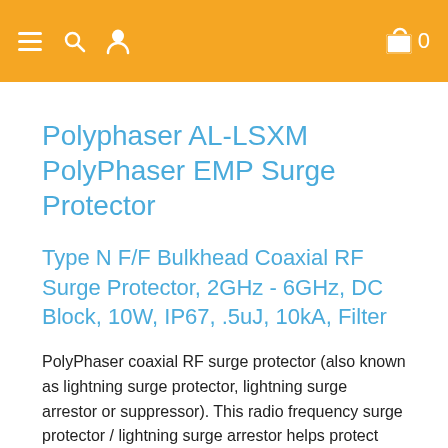Navigation header with menu, search, user, cart icons
Polyphaser AL-LSXM PolyPhaser EMP Surge Protector
Type N F/F Bulkhead Coaxial RF Surge Protector, 2GHz - 6GHz, DC Block, 10W, IP67, .5uJ, 10kA, Filter
PolyPhaser coaxial RF surge protector (also known as lightning surge protector, lightning surge arrestor or suppressor). This radio frequency surge protector / lightning surge arrestor helps protect your equipment from electromagnetic pulse (EMP) or power surges that are commonly caused by lightning or other strong electrical changes. Our radio frequency coaxial surge protector product is commonly used for radio and antenna installations